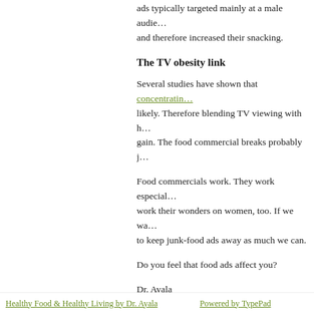ads typically targeted mainly at a male audie… and therefore increased their snacking.
The TV obesity link
Several studies have shown that concentratin… likely. Therefore blending TV viewing with h… gain. The food commercial breaks probably j…
Food commercials work. They work especial… work their wonders on women, too. If we wa… to keep junk-food ads away as much we can.
Do you feel that food ads affect you?
Dr. Ayala
Posted at 07:44 AM in Food and Drink, healthy lifesty… | Permalink | Comments (0) | TrackBack (0)
Tags: advertisement, calories, commercial, distracted e… food, nutrition, obesity, prevention, women
[Figure (other): Pin It button]
Healthy Food & Healthy Living by Dr. Ayala    Powered by TypePad